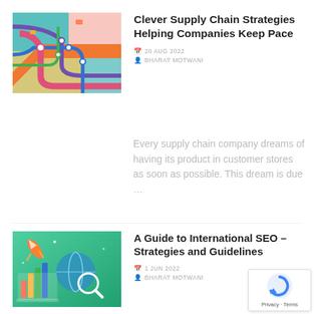[Figure (illustration): Colorful supply chain map illustration with pink, blue, orange, purple and teal pipeline routes on a light blue background]
Clever Supply Chain Strategies Helping Companies Keep Pace
20 AUG 2022
BHARAT MOTWANI
Every supply chain company dreams of having its product in customer stores as soon as possible. This dream is due …
[Figure (illustration): SEO illustration showing a rocket, globe, charts and magnifying glass on a green gradient background]
A Guide to International SEO – Strategies and Guidelines
1 JUN 2022
BHARAT MOTWANI
[Figure (logo): Google reCAPTCHA badge with spinning arrow logo and Privacy/Terms links]